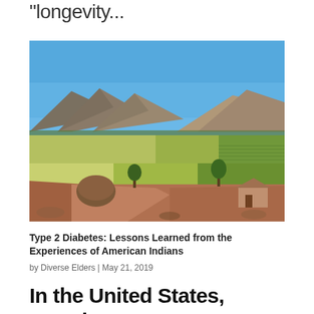"longevity...
[Figure (photo): Landscape photograph of agricultural fields with mountains in the background under a clear blue sky. Fields show patches of green and golden crops, with trees and a small building visible in the foreground.]
Type 2 Diabetes: Lessons Learned from the Experiences of American Indians
by Diverse Elders | May 21, 2019
In the United States, American